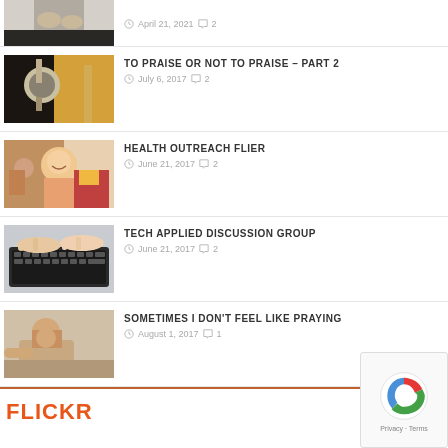[Figure (photo): Partial view of person's feet/legs from above on light background]
[Figure (photo): Close-up of microphone with warm bokeh background]
TO PRAISE OR NOT TO PRAISE – PART 2
July 6, 2017  2
[Figure (photo): People at a fitness/gym setting, smiling man with tattoos]
HEALTH OUTREACH FLIER
June 21, 2017  2
[Figure (photo): Hands typing on a keyboard]
TECH APPLIED DISCUSSION GROUP
June 21, 2017  2
[Figure (photo): Person with head bowed down, possibly in prayer or distress]
SOMETIMES I DON'T FEEL LIKE PRAYING
August 1, 2017  1
FLICKR